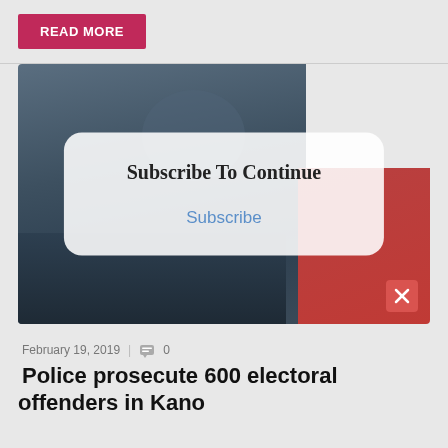READ MORE
[Figure (photo): A police officer wearing an NPF uniform jacket, viewed from behind/side, with a red-clothed person partially visible on the right.]
Subscribe To Continue
Subscribe
February 19, 2019   0
Police prosecute 600 electoral offenders in Kano